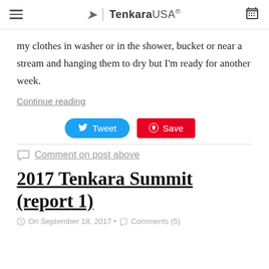Tenkara USA®
my clothes in washer or in the shower, bucket or near a stream and hanging them to dry but I'm ready for another week.
Continue reading
[Figure (other): Tweet and Save social sharing buttons]
Comment on post above
2017 Tenkara Summit (report 1)
On September 18, 2017 • Comments (5)